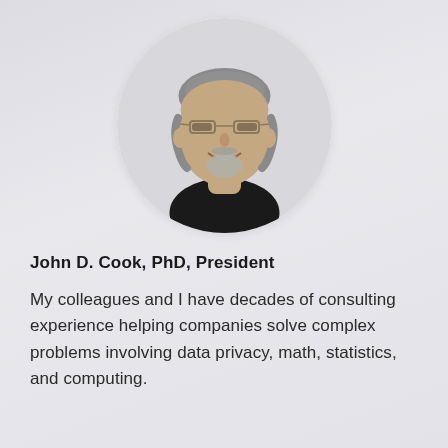[Figure (photo): Circular headshot photo of John D. Cook, a middle-aged man with salt-and-pepper hair, glasses, a goatee, and a warm smile, wearing a dark shirt. Photo is cropped in a circle on a light gray background.]
John D. Cook, PhD, President
My colleagues and I have decades of consulting experience helping companies solve complex problems involving data privacy, math, statistics, and computing.